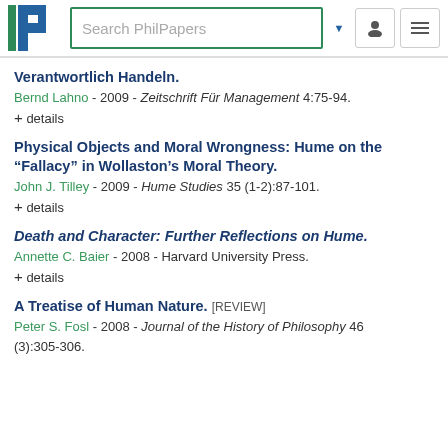Search PhilPapers
Verantwortlich Handeln.
Bernd Lahno - 2009 - Zeitschrift Für Management 4:75-94.
+ details
Physical Objects and Moral Wrongness: Hume on the “Fallacy” in Wollaston’s Moral Theory.
John J. Tilley - 2009 - Hume Studies 35 (1-2):87-101.
+ details
Death and Character: Further Reflections on Hume.
Annette C. Baier - 2008 - Harvard University Press.
+ details
A Treatise of Human Nature. [REVIEW]
Peter S. Fosl - 2008 - Journal of the History of Philosophy 46 (3):305-306.